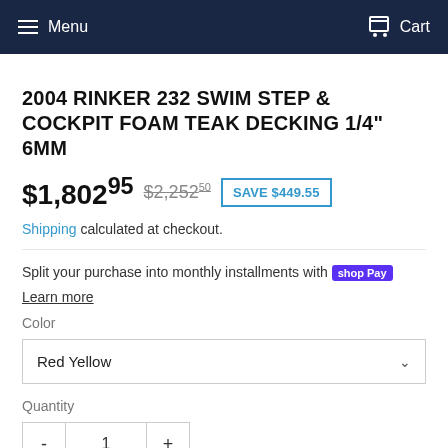Menu  Cart
2004 RINKER 232 SWIM STEP & COCKPIT FOAM TEAK DECKING 1/4" 6MM
$1,802.95  $2,252.50  SAVE $449.55
Shipping calculated at checkout.
Split your purchase into monthly installments with shop Pay
Learn more
Color
Red Yellow
Quantity
- 1 +